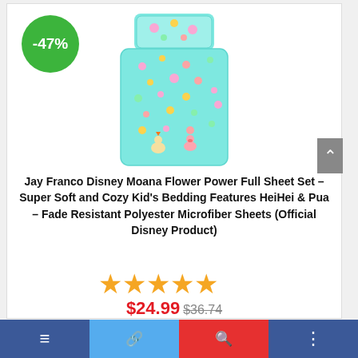[Figure (photo): Product photo of Jay Franco Disney Moana Flower Power full sheet set on a bed, aqua/teal color with flower and character print, shown from above. Green -47% discount badge in upper left.]
Jay Franco Disney Moana Flower Power Full Sheet Set – Super Soft and Cozy Kid's Bedding Features HeiHei & Pua – Fade Resistant Polyester Microfiber Sheets (Official Disney Product)
[Figure (other): 5 yellow/orange star rating icons]
$24.99 $36.74